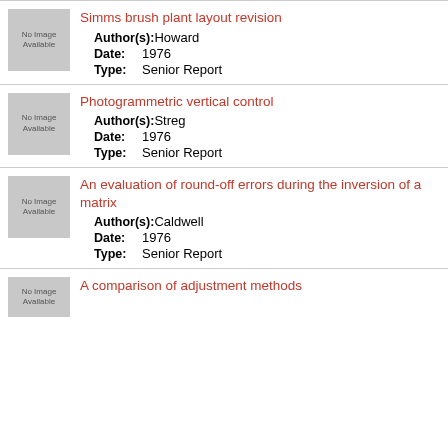Simms brush plant layout revision
Author(s): Howard
Date: 1976
Type: Senior Report
Photogrammetric vertical control
Author(s): Streg
Date: 1976
Type: Senior Report
An evaluation of round-off errors during the inversion of a matrix
Author(s): Caldwell
Date: 1976
Type: Senior Report
A comparison of adjustment methods